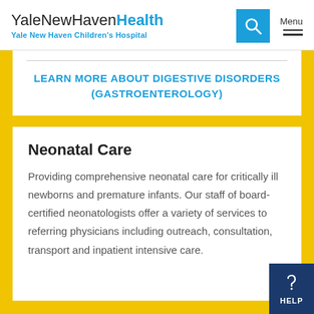YaleNewHavenHealth Yale New Haven Children's Hospital
LEARN MORE ABOUT DIGESTIVE DISORDERS (GASTROENTEROLOGY)
Neonatal Care
Providing comprehensive neonatal care for critically ill newborns and premature infants. Our staff of board-certified neonatologists offer a variety of services to referring physicians including outreach, consultation, transport and inpatient intensive care.